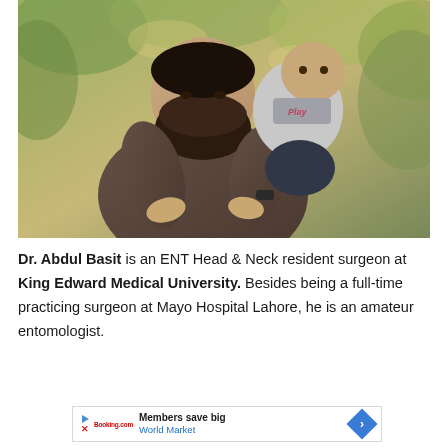[Figure (photo): A bearded man holding a toddler, standing outdoors with autumn foliage in the background. The man wears a dark brown jacket and a watch. The child wears a grey 'Play' sweatshirt.]
Dr. Abdul Basit is an ENT Head & Neck resident surgeon at King Edward Medical University. Besides being a full-time practicing surgeon at Mayo Hospital Lahore, he is an amateur entomologist.
[Figure (other): Advertisement banner: Members save big — World Market, with play button icon, X icon, and a blue diamond arrow button.]